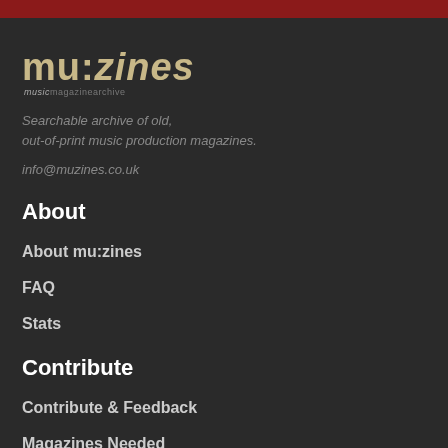mu:zines musicmagazinearchive
Searchable archive of old, out-of-print music production magazines.
info@muzines.co.uk
About
About mu:zines
FAQ
Stats
Contribute
Contribute & Feedback
Magazines Needed
Scanning & Upload Details